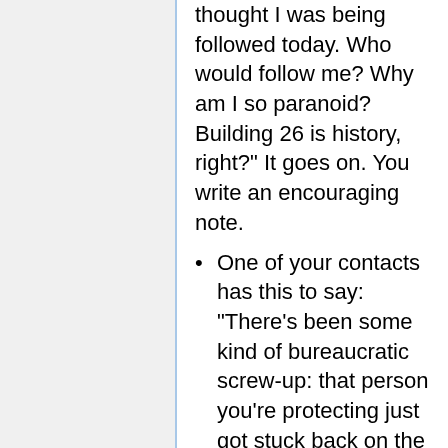thought I was being followed today. Who would follow me? Why am I so paranoid? Building 26 is history, right?" It goes on. You write an encouraging note.
One of your contacts has this to say: "There's been some kind of bureaucratic screw-up: that person you're protecting just got stuck back on the government watch list. Tell your buddy to avoid airports for a while. I think I can remove the flag but it's going to cost ya. Want me to go for it?"
There's an urgent message from your Hero: "Something strange happened to me yesterday. I think my ability is growing. What's happening to me??"
One of your contacts has an urgent